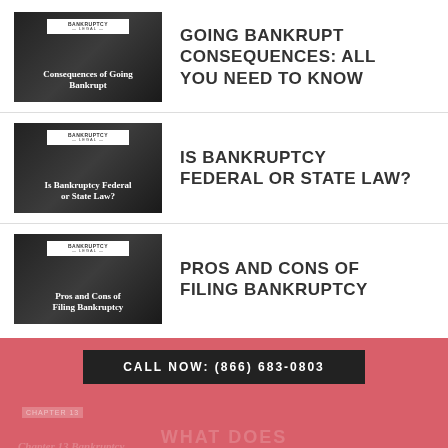[Figure (illustration): Dark thumbnail image with Bankruptcy Legal logo and text 'Consequences of Going Bankrupt']
GOING BANKRUPT CONSEQUENCES: ALL YOU NEED TO KNOW
[Figure (illustration): Dark thumbnail image with Bankruptcy Legal logo and text 'Is Bankruptcy Federal or State Law?']
IS BANKRUPTCY FEDERAL OR STATE LAW?
[Figure (illustration): Dark thumbnail image with Bankruptcy Legal logo and text 'Pros and Cons of Filing Bankruptcy']
PROS AND CONS OF FILING BANKRUPTCY
CALL NOW: (866) 683-0803